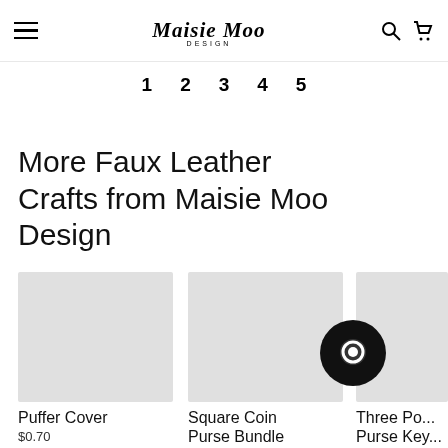Maisie Moo Design — navigation header with hamburger, logo, search and cart icons
1  2  3  4  5
More Faux Leather Crafts from Maisie Moo Design
[Figure (photo): Product thumbnail placeholder gray image for Puffer Cover]
Puffer Cover
$0.70
[Figure (photo): Product thumbnail placeholder gray image for Square Coin Purse Bundle]
Square Coin Purse Bundle
[Figure (photo): Partial product thumbnail placeholder gray image for Three Po... Purse Key...]
Three Po...
Purse Key...